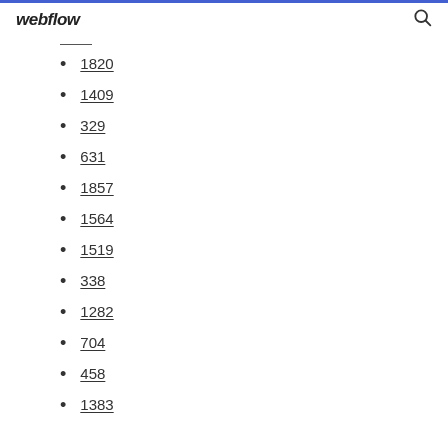webflow
1820
1409
329
631
1857
1564
1519
338
1282
704
458
1383